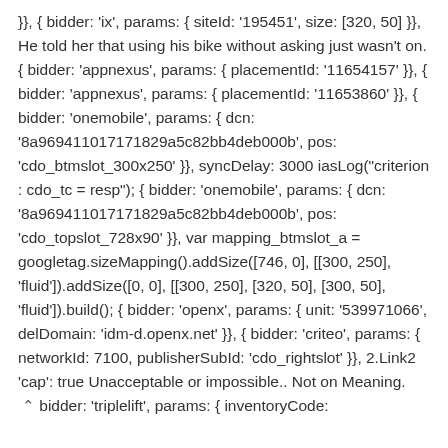}}, { bidder: 'ix', params: { siteId: '195451', size: [320, 50] }}, He told her that using his bike without asking just wasn't on. { bidder: 'appnexus', params: { placementId: '11654157' }}, { bidder: 'appnexus', params: { placementId: '11653860' }}, { bidder: 'onemobile', params: { dcn: '8a969411017171829a5c82bb4deb000b', pos: 'cdo_btmslot_300x250' }}, syncDelay: 3000 iasLog("criterion : cdo_tc = resp"); { bidder: 'onemobile', params: { dcn: '8a969411017171829a5c82bb4deb000b', pos: 'cdo_topslot_728x90' }}, var mapping_btmslot_a = googletag.sizeMapping().addSize([746, 0], [[300, 250], 'fluid']).addSize([0, 0], [[300, 250], [320, 50], [300, 50], 'fluid']).build(); { bidder: 'openx', params: { unit: '539971066', delDomain: 'idm-d.openx.net' }}, { bidder: 'criteo', params: { networkId: 7100, publisherSubId: 'cdo_rightslot' }}, 2.Link2 'cap': true Unacceptable or impossible.. Not on Meaning. ∧ bidder: 'triplelift', params: { inventoryCode: